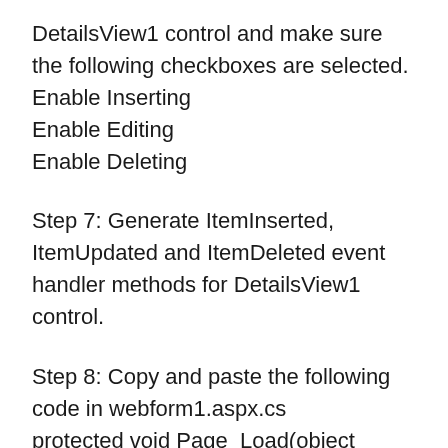DetailsView1 control and make sure the following checkboxes are selected.
Enable Inserting
Enable Editing
Enable Deleting
Step 7: Generate ItemInserted, ItemUpdated and ItemDeleted event handler methods for DetailsView1 control.
Step 8: Copy and paste the following code in webform1.aspx.cs
protected void Page_Load(object sender, EventArgs e)